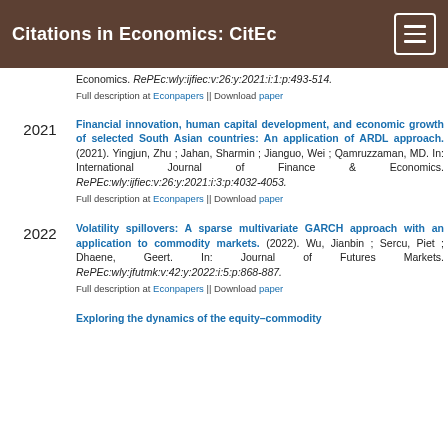Citations in Economics: CitEc
Economics. RePEc:wly:ijfiec:v:26:y:2021:i:1:p:493-514.
Full description at Econpapers || Download paper
Financial innovation, human capital development, and economic growth of selected South Asian countries: An application of ARDL approach. (2021). Yingjun, Zhu ; Jahan, Sharmin ; Jianguo, Wei ; Qamruzzaman, MD. In: International Journal of Finance & Economics. RePEc:wly:ijfiec:v:26:y:2021:i:3:p:4032-4053.
Full description at Econpapers || Download paper
Volatility spillovers: A sparse multivariate GARCH approach with an application to commodity markets. (2022). Wu, Jianbin ; Sercu, Piet ; Dhaene, Geert. In: Journal of Futures Markets. RePEc:wly:jfutmk:v:42:y:2022:i:5:p:868-887.
Full description at Econpapers || Download paper
Exploring the dynamics of the equity–commodity